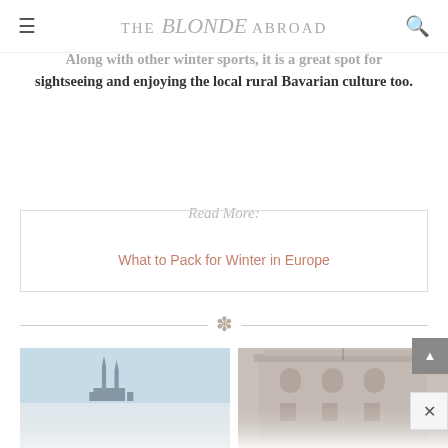THE Blonde ABROAD
Along with other winter sports, it is a great spot for sightseeing and enjoying the local rural Bavarian culture too.
Read More:
What to Pack for Winter in Europe
[Figure (illustration): Decorative divider with asterisk/snowflake ornament between two horizontal lines]
[Figure (photo): Photo of a city skyline with cathedral spires against a pale blue sky, Cologne or similar German city]
[Figure (photo): Photo of a European building facade with ornate architecture]